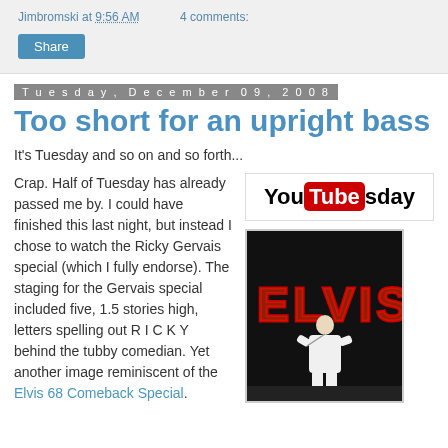Jimbromski at 9:56 AM   4 comments:
Share
Tuesday, December 09, 2008
Too short for an upright bass
It's Tuesday and so on and so forth...
[Figure (logo): YouTubesday logo — YouTube branding with 'You', red 'Tube' pill, and 'sday' text]
[Figure (photo): Photo of a performer in a white suit on stage in front of a large illuminated ELVIS sign with red letters on dark background]
Crap. Half of Tuesday has already passed me by. I could have finished this last night, but instead I chose to watch the Ricky Gervais special (which I fully endorse). The staging for the Gervais special included five, 1.5 stories high, letters spelling out R I C K Y behind the tubby comedian. Yet another image reminiscent of the Elvis 68 Comeback Special.